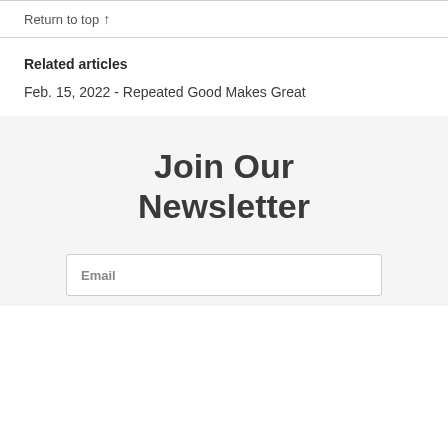Return to top ↑
Related articles
Feb. 15, 2022 - Repeated Good Makes Great
Join Our Newsletter
Email